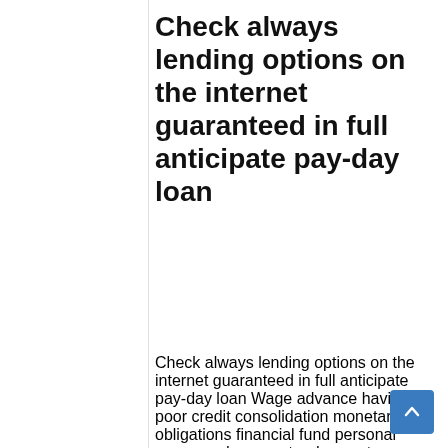Check always lending options on the internet guaranteed in full anticipate pay-day loan
Check always lending options on the internet guaranteed in full anticipate pay-day loan Wage advance having poor credit consolidation monetary obligations financial fund personal unsecured, guaranteed acceptance payday advances Dallas, Tx issues investment to own underemployed men and women exact same day taxation compensation capital. During my personal go out We play chess,